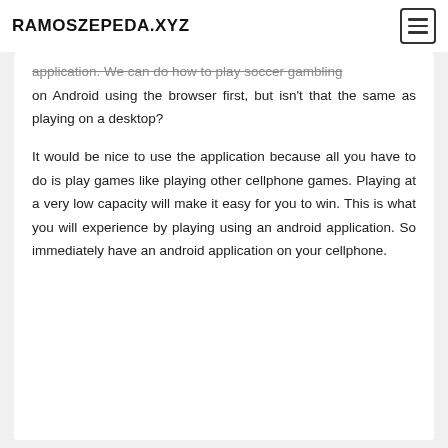RAMOSZEPEDA.XYZ
application. We can do how to play soccer gambling on Android using the browser first, but isn't that the same as playing on a desktop?
It would be nice to use the application because all you have to do is play games like playing other cellphone games. Playing at a very low capacity will make it easy for you to win. This is what you will experience by playing using an android application. So immediately have an android application on your cellphone.